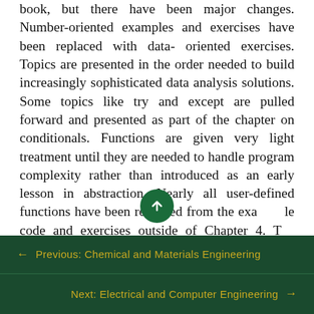book, but there have been major changes. Number-oriented examples and exercises have been replaced with data- oriented exercises. Topics are presented in the order needed to build increasingly sophisticated data analysis solutions. Some topics like try and except are pulled forward and presented as part of the chapter on conditionals. Functions are given very light treatment until they are needed to handle program complexity rather than introduced as an early lesson in abstraction. Nearly all user-defined functions have been removed from the example code and exercises outside of Chapter 4. The word “recursion”1
← Previous: Chemical and Materials Engineering
Next: Electrical and Computer Engineering →